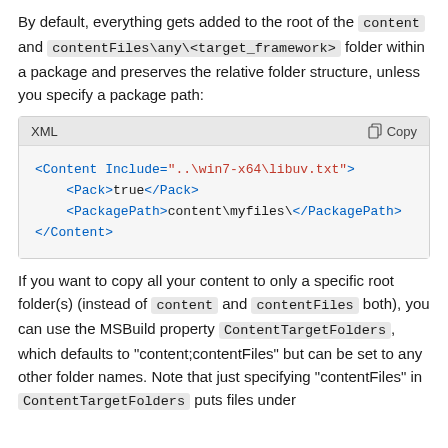By default, everything gets added to the root of the content and contentFiles\any\<target_framework> folder within a package and preserves the relative folder structure, unless you specify a package path:
[Figure (screenshot): XML code block showing: <Content Include="..\win7-x64\libuv.txt"> <Pack>true</Pack> <PackagePath>content\myfiles\</PackagePath> </Content>]
If you want to copy all your content to only a specific root folder(s) (instead of content and contentFiles both), you can use the MSBuild property ContentTargetFolders, which defaults to "content;contentFiles" but can be set to any other folder names. Note that just specifying "contentFiles" in ContentTargetFolders puts files under